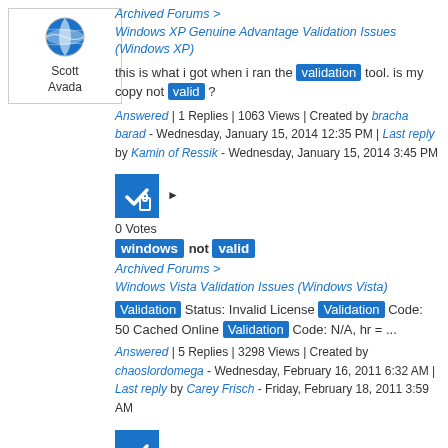[Figure (illustration): User avatar icon (globe/puzzle blue and white) with name Scott Avada]
Archived Forums > Windows XP Genuine Advantage Validation Issues (Windows XP)
this is what i got when i ran the validation tool. is my copy not valid ?
Answered | 1 Replies | 1063 Views | Created by bracha barad - Wednesday, January 15, 2014 12:35 PM | Last reply by Kamin of Ressik - Wednesday, January 15, 2014 3:45 PM
[Figure (illustration): Blue answered checkmark/lock icon with arrow]
0 Votes
windows not valid
Archived Forums > Windows Vista Validation Issues (Windows Vista)
Validation Status: Invalid License Validation Code: 50 Cached Online Validation Code: N/A, hr = ...
Answered | 5 Replies | 3298 Views | Created by chaoslordomega - Wednesday, February 16, 2011 6:32 AM | Last reply by Carey Frisch - Friday, February 18, 2011 3:59 AM
[Figure (illustration): Blue answered checkmark/lock icon with arrow]